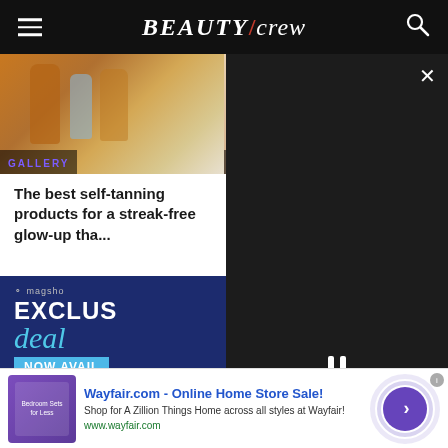BEAUTY/crew
[Figure (photo): Two gallery images side by side: left shows self-tanning product bottles (amber/gold tones), right shows a person with tanned skin. Both have GALLERY labels.]
The best self-tanning products for a streak-free glow-up tha...
Th... loo...
[Figure (screenshot): Dark video player overlay panel on the right side with a close X button and pause controls]
[Figure (photo): Magshop advertisement banner: dark navy background with text 'magshop EXCLUSIVE deals NOW AVAIL.']
[Figure (photo): Wayfair.com advertisement at bottom: 'Wayfair.com - Online Home Store Sale! Shop for A Zillion Things Home across all styles at Wayfair! www.wayfair.com']